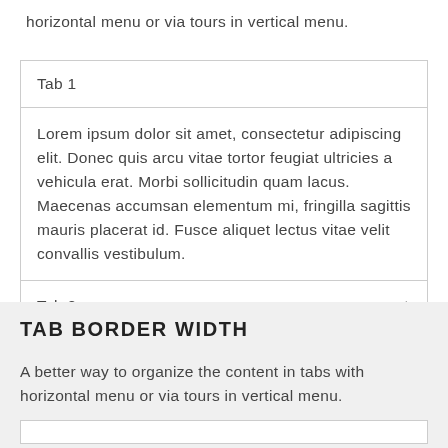horizontal menu or via tours in vertical menu.
| Tab 1 |
| Lorem ipsum dolor sit amet, consectetur adipiscing elit. Donec quis arcu vitae tortor feugiat ultricies a vehicula erat. Morbi sollicitudin quam lacus. Maecenas accumsan elementum mi, fringilla sagittis mauris placerat id. Fusce aliquet lectus vitae velit convallis vestibulum. |
| Tab 2 |
TAB BORDER WIDTH
A better way to organize the content in tabs with horizontal menu or via tours in vertical menu.